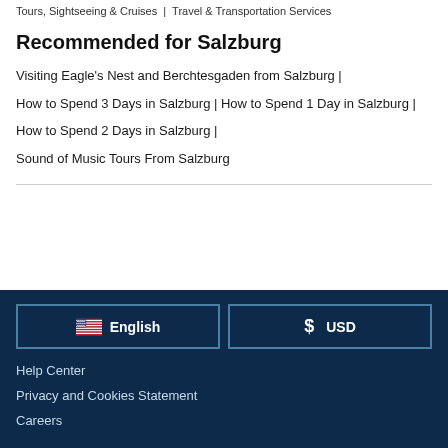Tours, Sightseeing & Cruises | Travel & Transportation Services
Recommended for Salzburg
Visiting Eagle's Nest and Berchtesgaden from Salzburg |
How to Spend 3 Days in Salzburg | How to Spend 1 Day in Salzburg |
How to Spend 2 Days in Salzburg |
Sound of Music Tours From Salzburg
English
$ USD
Help Center
Privacy and Cookies Statement
Careers